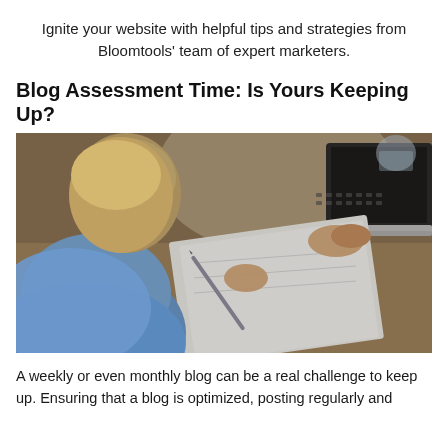Ignite your website with helpful tips and strategies from Bloomtools’ team of expert marketers.
Blog Assessment Time: Is Yours Keeping Up?
[Figure (photo): Person seen from behind, writing in a notebook with a pen while simultaneously reaching toward a laptop keyboard, seated at a wooden desk. The person is wearing a light blue top with blonde hair.]
A weekly or even monthly blog can be a real challenge to keep up. Ensuring that a blog is optimized, posting regularly and